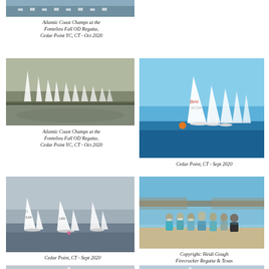[Figure (photo): Sailing boats lined up at Atlantic Coast Champs, top crop]
Atlantic Coast Champs at the Fontelieu Fall OD Regatta, Cedar Point YC, CT - Oct 2020
[Figure (photo): Sailboats lined up at Atlantic Coast Champs, Fontelieu Fall OD Regatta]
Atlantic Coast Champs at the Fontelieu Fall OD Regatta, Cedar Point YC, CT - Oct 2020
[Figure (photo): RS Aero sailboats racing at Cedar Point CT, tight formation on open water]
Cedar Point, CT - Sept 2020
[Figure (photo): RS Aero sailboats racing at Cedar Point, grey overcast sky]
Cedar Point, CT - Sept 2020
[Figure (photo): Group of sailors standing together for photo at Texas State RS Aero Championships]
Copyright: Heidi Gough Firecracker Regatta & Texas State RS Aero Championships, Viridian, Dallas, TX - Sept 2020
[Figure (photo): Sailboat on water, bottom strip, partial view]
[Figure (photo): Sailboats on water, bottom strip right, partial view]